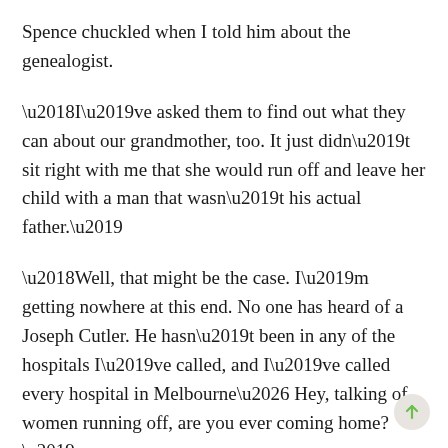Spence chuckled when I told him about the genealogist.
‘I’ve asked them to find out what they can about our grandmother, too. It just didn’t sit right with me that she would run off and leave her child with a man that wasn’t his actual father.’
‘Well, that might be the case. I’m getting nowhere at this end. No one has heard of a Joseph Cutler. He hasn’t been in any of the hospitals I’ve called, and I’ve called every hospital in Melbourne… Hey, talking of women running off, are you ever coming home?’
‘I need to stay here and see this through, Spence.’